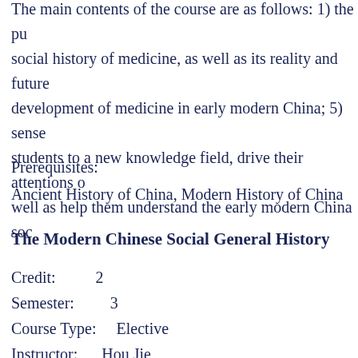The main contents of the course are as follows: 1) the pu social history of medicine, as well as its reality and future development of medicine in early modern China; 5) sense students to a new knowledge field, drive their attentions o well as help them understand the early modern China soc
Prerequisites:
Ancient History of China, Modern History of China
The Modern Chinese Social General History
Credit:          2
Semester:          3
Course Type:          Elective
Instructor:          Hou Jie
Course Description: